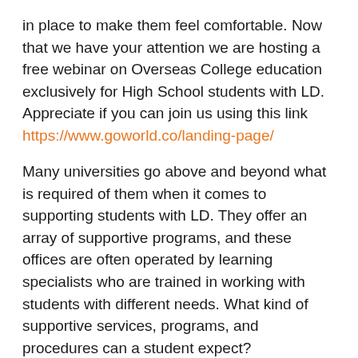in place to make them feel comfortable. Now that we have your attention we are hosting a free webinar on Overseas College education exclusively for High School students with LD. Appreciate if you can join us using this link https://www.goworld.co/landing-page/
Many universities go above and beyond what is required of them when it comes to supporting students with LD. They offer an array of supportive programs, and these offices are often operated by learning specialists who are trained in working with students with different needs. What kind of supportive services, programs, and procedures can a student expect?